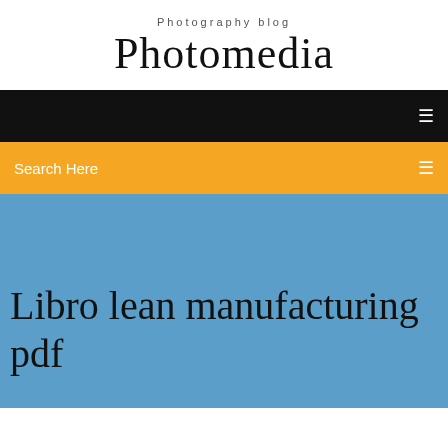Photography blog
Photomedia
Search Here
Libro lean manufacturing pdf